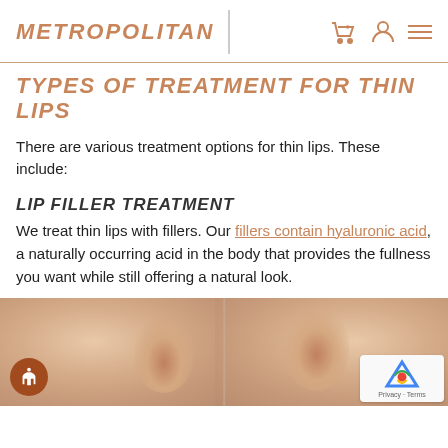METROPOLITAN
TYPES OF TREATMENT FOR THIN LIPS
There are various treatment options for thin lips. These include:
LIP FILLER TREATMENT
We treat thin lips with fillers. Our fillers contain hyaluronic acid, a naturally occurring acid in the body that provides the fullness you want while still offering a natural look.
[Figure (photo): Before and after photo showing close-up of nose and upper lip area of a person, split into two panels side by side]